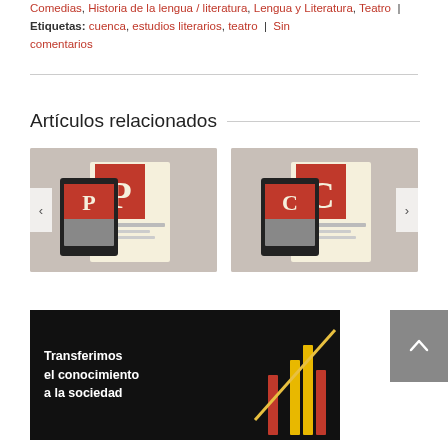Comedias, Historia de la lengua / literatura, Lengua y Literatura, Teatro | Etiquetas: cuenca, estudios literarios, teatro | Sin comentarios
Artículos relacionados
[Figure (photo): Book product photo showing a printed book and tablet with red ornamental letter P on cream cover]
[Figure (photo): Book product photo showing a printed book and tablet with red ornamental letter C on cream cover]
[Figure (photo): Banner with text 'Transferimos el conocimiento a la sociedad' with decorative colored bars graphic on black background]